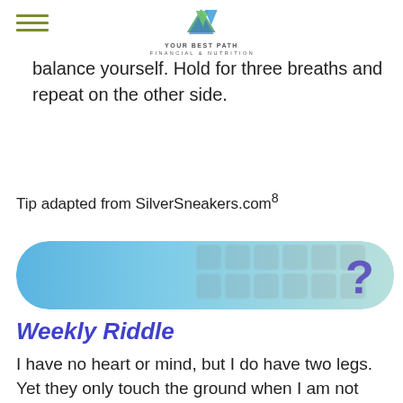YOUR BEST PATH
balance yourself. Hold for three breaths and repeat on the other side.
Tip adapted from SilverSneakers.com⁸
[Figure (infographic): Blue gradient banner with puzzle piece texture and large question mark on the right side]
Weekly Riddle
I have no heart or mind, but I do have two legs. Yet they only touch the ground when I am not carrying things around. What am I?
Last week’s riddle: Where does today come before